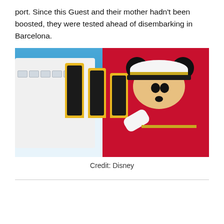port. Since this Guest and their mother hadn't been boosted, they were tested ahead of disembarking in Barcelona.
[Figure (photo): Minnie Mouse dressed as a captain in a red uniform with white captain hat, saluting in front of a Disney cruise ship with yellow funnels and red hull]
Credit: Disney